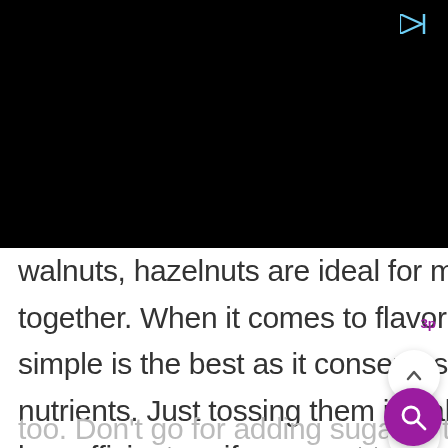[Figure (screenshot): Black video player area at top of screen with a play/forward icon in the top right corner]
walnuts, hazelnuts are ideal for mixing together. When it comes to flavoring simple is the best as it conserves all the nutrients. Just tossing them in salt should be sufficient, or if you want to be a bit extra you can go ahead and roast them too. Don't go for adding sugar in the mixed nuts as that will add unhealthy calories to